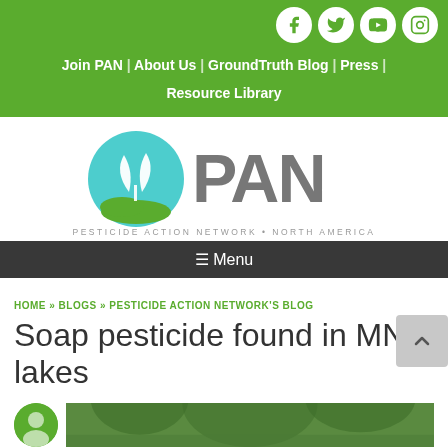Join PAN | About Us | GroundTruth Blog | Press | Resource Library
[Figure (logo): PAN - Pesticide Action Network North America logo with teal circle containing a plant/leaf graphic and large gray PAN text]
≡ Menu
HOME » BLOGS » PESTICIDE ACTION NETWORK'S BLOG
Soap pesticide found in MN lakes
[Figure (photo): Partial bottom strip showing a circular avatar and a photo of trees/nature]